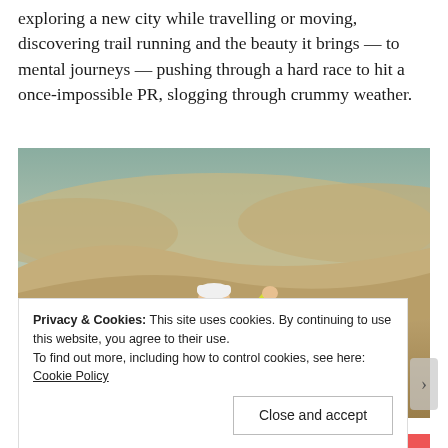I love the places running has taken me, from literal places exploring a new city while travelling or moving, discovering trail running and the beauty it brings — to mental journeys — pushing through a hard race to hit a once-impossible PR, slogging through crummy weather.
[Figure (photo): A trail runner wearing a yellow shirt, white cap, and pink backpack with arms outstretched, standing amid large sandy desert dunes.]
Privacy & Cookies: This site uses cookies. By continuing to use this website, you agree to their use.
To find out more, including how to control cookies, see here: Cookie Policy
Close and accept